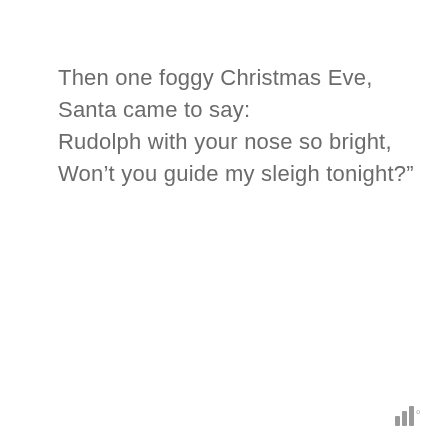Then one foggy Christmas Eve,
Santa came to say:
Rudolph with your nose so bright,
Won’t you guide my sleigh tonight?”
Ⅱ°